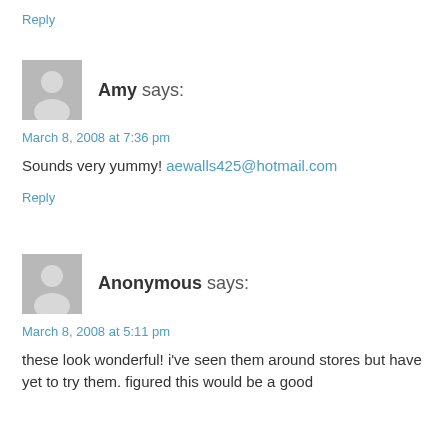Reply
Amy says:
March 8, 2008 at 7:36 pm
Sounds very yummy! aewalls425@hotmail.com
Reply
Anonymous says:
March 8, 2008 at 5:11 pm
these look wonderful! i've seen them around stores but have yet to try them. figured this would be a good